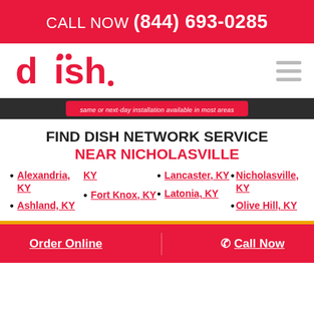CALL NOW (844) 693-0285
[Figure (logo): DISH Network logo in red]
same or next-day installation available in most areas
FIND DISH NETWORK SERVICE NEAR NICHOLASVILLE
Alexandria, KY
KY
Ashland, KY
Fort Knox, KY
Lancaster, KY
Nicholasville, KY
Latonia, KY
Olive Hill, KY
Order Online  / Call Now